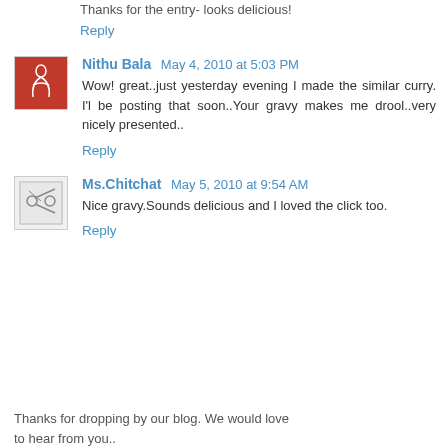Thanks for the entry- looks delicious!
Reply
Nithu Bala May 4, 2010 at 5:03 PM
Wow! great..just yesterday evening I made the similar curry. I'l be posting that soon..Your gravy makes me drool..very nicely presented..
Reply
Ms.Chitchat May 5, 2010 at 9:54 AM
Nice gravy.Sounds delicious and I loved the click too.
Reply
Thanks for dropping by our blog. We would love to hear from you..